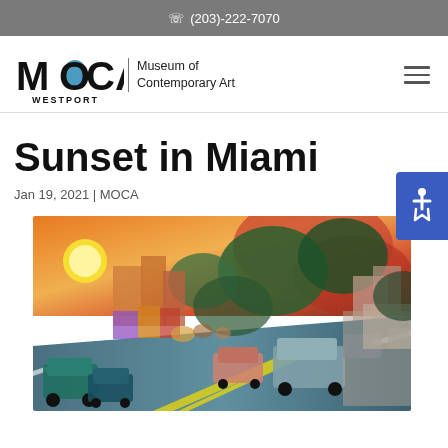(203)-222-7070
[Figure (logo): MOCA Westport logo — Museum of Contemporary Art Westport wordmark with hamburger menu icon]
Sunset in Miami
Jan 19, 2021 | MOCA
[Figure (photo): Impressionist painting of a Miami street scene at sunset — busy road with cars, colorful buildings, trees, and a glowing yellow-orange sun on the horizon]